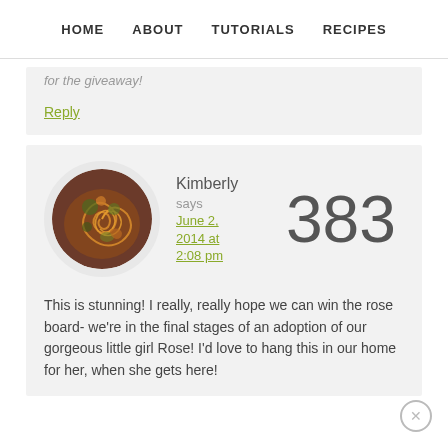HOME   ABOUT   TUTORIALS   RECIPES
for the giveaway!
Reply
Kimberly says June 2, 2014 at 2:08 pm  383
This is stunning! I really, really hope we can win the rose board- we're in the final stages of an adoption of our gorgeous little girl Rose! I'd love to hang this in our home for her, when she gets here!